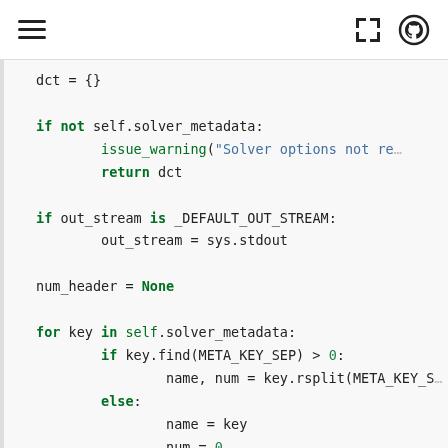≡  [expand icon]  [github icon]
Code snippet showing Python method with conditional logic for solver metadata, output stream, and key iteration.